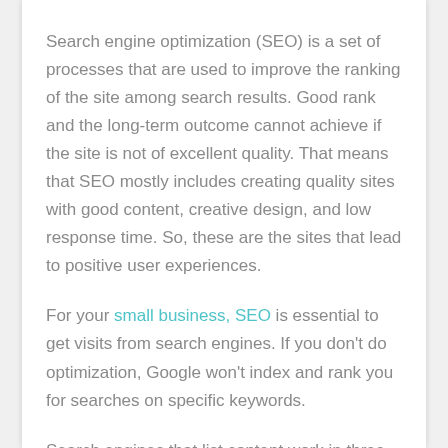Search engine optimization (SEO) is a set of processes that are used to improve the ranking of the site among search results. Good rank and the long-term outcome cannot achieve if the site is not of excellent quality. That means that SEO mostly includes creating quality sites with good content, creative design, and low response time. So, these are the sites that lead to positive user experiences.
For your small business, SEO is essential to get visits from search engines. If you don't do optimization, Google won't index and rank you for searches on specific keywords.
Search engines that list content work in three steps: first, they find the web page, then they analyze it they enter the information into a search engine index, and ultimately provide search results. These processes are crawling, indexing, serving.